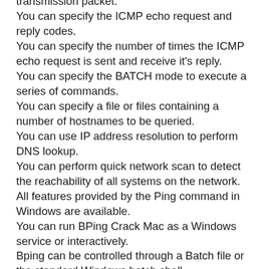transmission packet.
You can specify the ICMP echo request and reply codes.
You can specify the number of times the ICMP echo request is sent and receive it's reply.
You can specify the BATCH mode to execute a series of commands.
You can specify a file or files containing a number of hostnames to be queried.
You can use IP address resolution to perform DNS lookup.
You can perform quick network scan to detect the reachability of all systems on the network.
All features provided by the Ping command in Windows are available.
You can run BPing Crack Mac as a Windows service or interactively.
Bping can be controlled through a Batch file or the standard Windows batch shell.
As the Batch mode is a little more